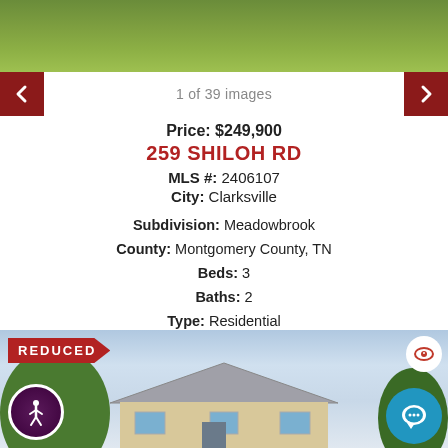[Figure (photo): Top portion of a house exterior showing grassy lawn area]
1 of 39 images
Price: $249,900
259 SHILOH RD
MLS #: 2406107
City: Clarksville
Subdivision: Meadowbrook
County: Montgomery County, TN
Beds: 3
Baths: 2
Type: Residential
Elementary School: Kenwood Elementary
Middle School: Kenwood Middle School
High School: Kenwood High School
[Figure (photo): House exterior photo with REDUCED price banner, trees, and sky background]